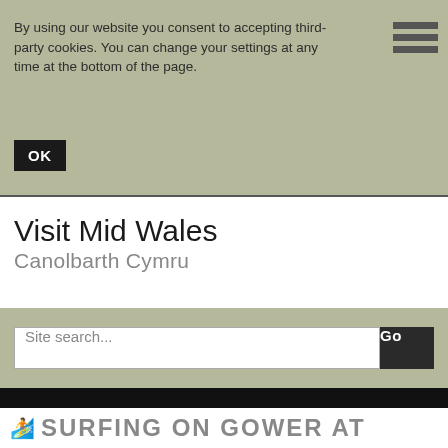By using our website you consent to accepting third-party cookies. You can change your settings at any time at the bottom of the page.
[Figure (other): Hamburger menu icon with three horizontal lines]
OK
Visit Mid Wales
Canolbarth Cymru
Site search...
Go
SURFING ON GOWER AT